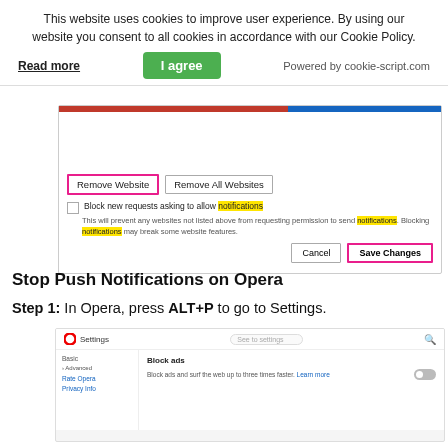This website uses cookies to improve user experience. By using our website you consent to all cookies in accordance with our Cookie Policy.
Read more   I agree   Powered by cookie-script.com
[Figure (screenshot): Browser UI screenshot showing 'Remove Website' button (highlighted with pink border) and 'Remove All Websites' button, a checkbox 'Block new requests asking to allow notifications' (with 'notifications' highlighted yellow), sub-text about blocking notifications with 'notifications' highlighted twice in yellow, and Cancel / Save Changes buttons (Save Changes highlighted with pink border).]
Stop Push Notifications on Opera
Step 1: In Opera, press ALT+P to go to Settings.
[Figure (screenshot): Opera Settings page screenshot showing the Opera logo O, Settings text, search bar, left sidebar with Basic, Advanced, Rate Opera, Privacy links, and main content area showing 'Block ads' section with toggle switch off and 'Block ads and surf the web up to three times faster. Learn more' text.]